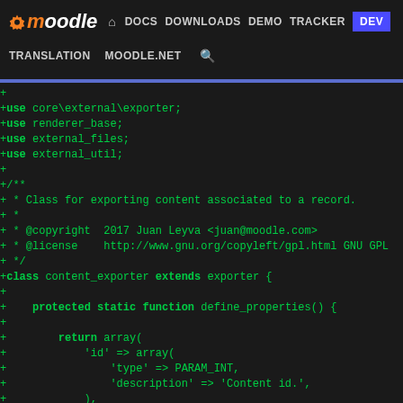moodle | DOCS DOWNLOADS DEMO TRACKER DEV | TRANSLATION MOODLE.NET
[Figure (screenshot): Moodle developer documentation website navigation bar with dark background, showing logo, nav links (DOCS, DOWNLOADS, DEMO, TRACKER, DEV highlighted in blue), and secondary nav (TRANSLATION, MOODLE.NET, search icon)]
+
+use core\external\exporter;
+use renderer_base;
+use external_files;
+use external_util;
+
+/**
+ * Class for exporting content associated to a record.
+ *
+ * @copyright  2017 Juan Leyva <juan@moodle.com>
+ * @license    http://www.gnu.org/copyleft/gpl.html GNU GPL
+ */
+class content_exporter extends exporter {
+
+    protected static function define_properties() {
+
+        return array(
+            'id' => array(
+                'type' => PARAM_INT,
+                'description' => 'Content id.',
+            ),
+            'fieldid' => array(
+                'type' => PARAM_INT,
+                'description' => 'The field type of the co
+                'default' => 0,
+            ),
+            'recordid' => array(